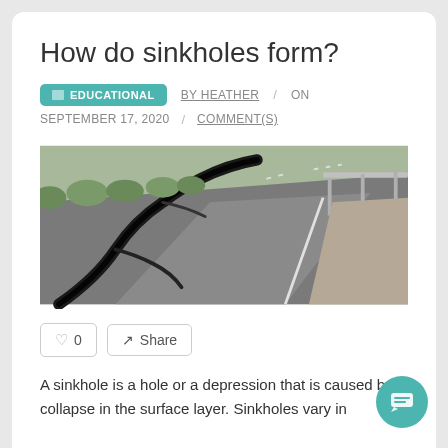How do sinkholes form?
EDUCATIONAL   BY HEATHER  /  ON  SEPTEMBER 17, 2020  /  COMMENT(S)
[Figure (photo): A cracked road with a large sinkhole/fissure running diagonally across it, with guardrails visible on the right side and greenery in the background.]
0   Share
A sinkhole is a hole or a depression that is caused by a collapse in the surface layer. Sinkholes vary in